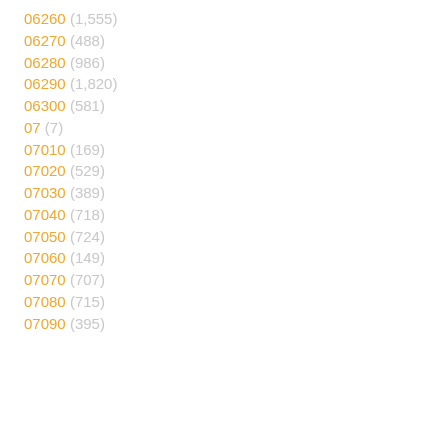06260 (1,555)
06270 (488)
06280 (986)
06290 (1,820)
06300 (581)
07 (7)
07010 (169)
07020 (529)
07030 (389)
07040 (718)
07050 (724)
07060 (149)
07070 (707)
07080 (715)
07090 (395)